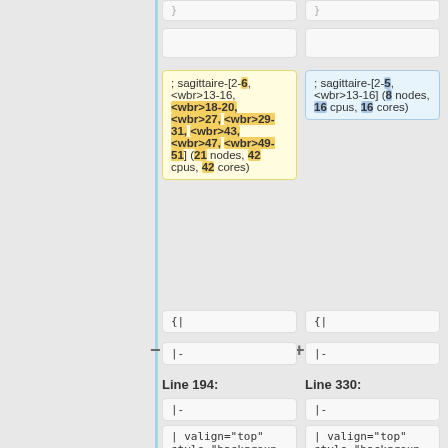; sagittaire-[2-6, <wbr>13-16, <wbr>18-20, <wbr>27, <wbr>29-31, <wbr>43, <wbr>47, <wbr>49-51] (21 nodes, 42 cpus, 42 cores)
; sagittaire-[2-5, <wbr>13-16] (8 nodes, 16 cpus, 16 cores)
{|
{|
|-
|-
Line 194:
Line 330:
|-
|-
| valign="top" style="backgroun
| valign="top" style="backgroun